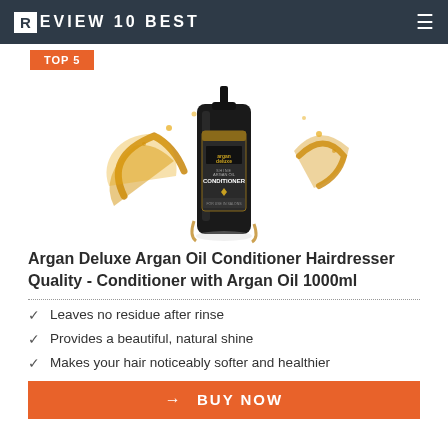REVIEW10BEST
TOP 5
[Figure (photo): Argan Deluxe Argan Oil Conditioner bottle (black with gold label) surrounded by golden oil splashes on white background]
Argan Deluxe Argan Oil Conditioner Hairdresser Quality - Conditioner with Argan Oil 1000ml
Leaves no residue after rinse
Provides a beautiful, natural shine
Makes your hair noticeably softer and healthier
BUY NOW